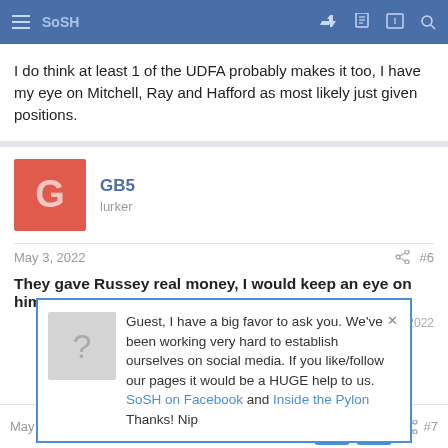SoSH (navigation bar)
I do think at least 1 of the UDFA probably makes it too, I have my eye on Mitchell, Ray and Hafford as most likely just given positions.
GB5
lurker
May 3, 2022  #6
They gave Russey real money, I would keep an eye on him.
Guest, I have a big favor to ask you. We've been working very hard to establish ourselves on social media. If you like/follow our pages it would be a HUGE help to us. SoSH on Facebook and Inside the Pylon Thanks! Nip
edited: May 3, 2022
May 3, 2022  #7